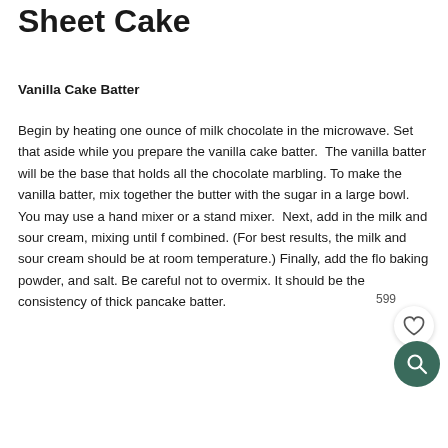Sheet Cake
Vanilla Cake Batter
Begin by heating one ounce of milk chocolate in the microwave. Set that aside while you prepare the vanilla cake batter.  The vanilla batter will be the base that holds all the chocolate marbling. To make the vanilla batter, mix together the butter with the sugar in a large bowl. You may use a hand mixer or a stand mixer.  Next, add in the milk and sour cream, mixing until f combined. (For best results, the milk and sour cream should be at room temperature.) Finally, add the flo baking powder, and salt. Be careful not to overmix. It should be the consistency of thick pancake batter.